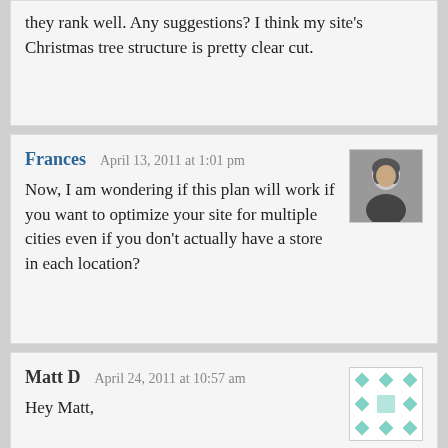they rank well. Any suggestions? I think my site's Christmas tree structure is pretty clear cut.
Frances  April 13, 2011 at 1:01 pm
Now, I am wondering if this plan will work if you want to optimize your site for multiple cities even if you don't actually have a store in each location?
Matt D  April 24, 2011 at 10:57 am
Hey Matt,

I work at a company that is a is a broker but deals with transportation and when people search for our service they include locations in their searches but since we are a broker we are only located in one